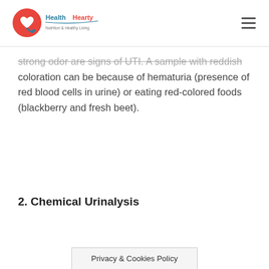HealthHearty
strong odor are signs of UTI. A sample with reddish coloration can be because of hematuria (presence of red blood cells in urine) or eating red-colored foods (blackberry and fresh beet).
2. Chemical Urinalysis
Privacy & Cookies Policy